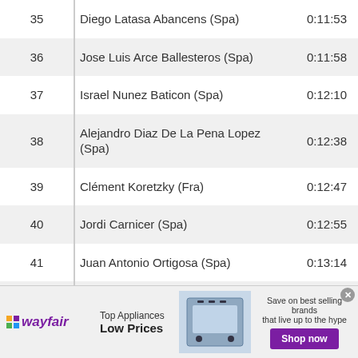| # | Name | Time |
| --- | --- | --- |
| 35 | Diego Latasa Abancens (Spa) | 0:11:53 |
| 36 | Jose Luis Arce Ballesteros (Spa) | 0:11:58 |
| 37 | Israel Nunez Baticon (Spa) | 0:12:10 |
| 38 | Alejandro Diaz De La Pena Lopez (Spa) | 0:12:38 |
| 39 | Clément Koretzky (Fra) | 0:12:47 |
| 40 | Jordi Carnicer (Spa) | 0:12:55 |
| 41 | Juan Antonio Ortigosa (Spa) | 0:13:14 |
| 42 | Ramon Sagues Portabella (Spa) | 0:13:21 |
| 43 | Umbert Almenara Verges (Spa) | 0:13:33 |
[Figure (infographic): Wayfair advertisement banner: Top Appliances Low Prices, Save on best selling brands that live up to the hype, Shop now button]